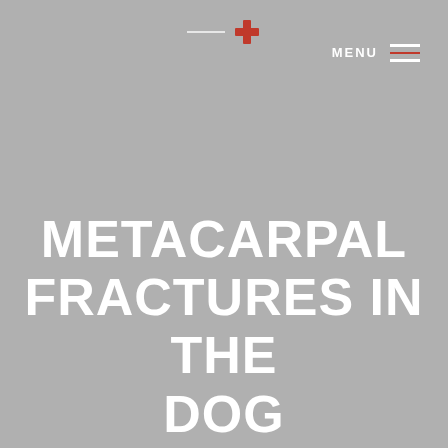[Figure (logo): Medical cross icon with horizontal line to the left, red cross symbol on grey background]
MENU
METACARPAL FRACTURES IN THE DOG